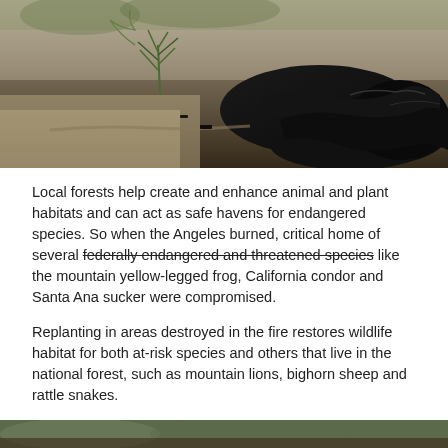[Figure (photo): Close-up photograph of scorched black earth and debris with a small green plant sprouting, showing post-fire landscape in a forest or chaparral environment.]
Local forests help create and enhance animal and plant habitats and can act as safe havens for endangered species. So when the Angeles burned, critical home of several federally endangered and threatened species like the mountain yellow-legged frog, California condor and Santa Ana sucker were compromised.
Replanting in areas destroyed in the fire restores wildlife habitat for both at-risk species and others that live in the national forest, such as mountain lions, bighorn sheep and rattle snakes.
3. You'll help prevent erosion, like the kind that leads to dangerous rock and mud slides.
[Figure (photo): Partial view of a photograph showing vegetation and landscape, bottom of page.]